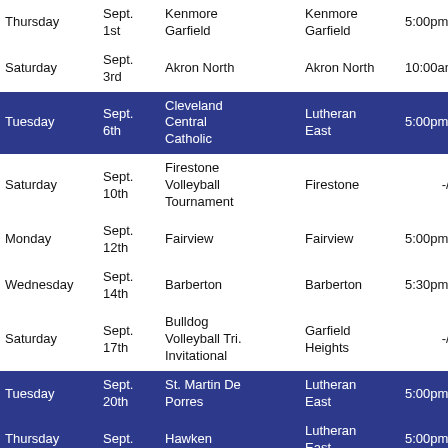| Day | Date | Opponent | Location | Time |
| --- | --- | --- | --- | --- |
| Thursday | Sept. 1st | Kenmore Garfield | Kenmore Garfield | 5:00pm/6:00pm |
| Saturday | Sept. 3rd | Akron North | Akron North | 10:00am/11:30am |
| Tuesday | Sept. 6th | Cleveland Central Catholic | Lutheran East | 5:00pm/6:00pm |
| Saturday | Sept. 10th | Firestone Volleyball Tournament | Firestone | -/9:00am |
| Monday | Sept. 12th | Fairview | Fairview | 5:00pm/6:00pm |
| Wednesday | Sept. 14th | Barberton | Barberton | 5:30pm/6:30pm |
| Saturday | Sept. 17th | Bulldog Volleyball Tri. Invitational | Garfield Heights | -/8:30am |
| Tuesday | Sept. 20th | St. Martin De Porres | Lutheran East | 5:00pm/6:00pm |
| Thursday | Sept. 22nd | Hawken | Lutheran East | 5:00pm/6:00pm |